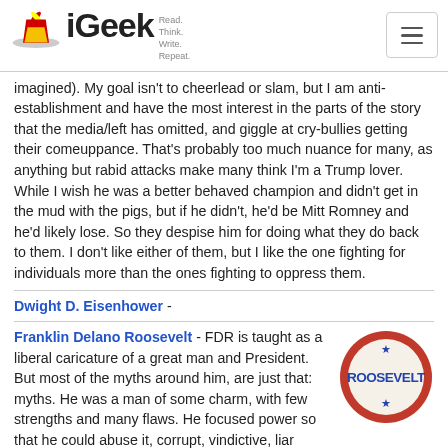iGeek — Read. Think. Write. Repeat.
imagined). My goal isn't to cheerlead or slam, but I am anti-establishment and have the most interest in the parts of the story that the media/left has omitted, and giggle at cry-bullies getting their comeuppance. That's probably too much nuance for many, as anything but rabid attacks make many think I'm a Trump lover. While I wish he was a better behaved champion and didn't get in the mud with the pigs, but if he didn't, he'd be Mitt Romney and he'd likely lose. So they despise him for doing what they do back to them. I don't like either of them, but I like the one fighting for individuals more than the ones fighting to oppress them.
Dwight D. Eisenhower -
Franklin Delano Roosevelt - FDR is taught as a liberal caricature of a great man and President. But most of the myths around him, are just that: myths. He was a man of some charm, with few strengths and many flaws. He focused power so that he could abuse it, corrupt, vindictive, liar (betrayed most that trusted him). He ignored the Constitution and his oath of office, many of the countries worst shames happened
[Figure (photo): Roosevelt campaign button — circular badge with red border, stars, and bold text reading ROOSEVELT on a cream background]